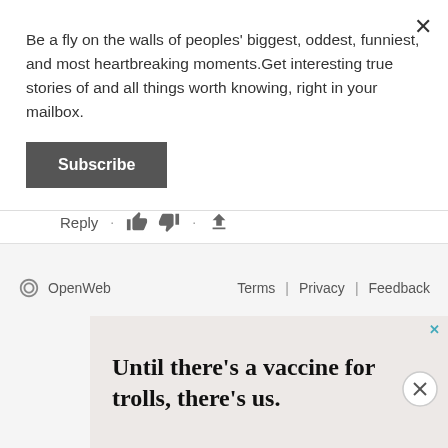Be a fly on the walls of peoples' biggest, oddest, funniest, and most heartbreaking moments.Get interesting true stories of and all things worth knowing, right in your mailbox.
Subscribe
Reply
OpenWeb
Terms | Privacy | Feedback
[Figure (screenshot): Advertisement with text: 'Until there’s a vaccine for trolls, there’s us.' and subtext 'It’s time to save online conversation.' with a 'Learn more' button, on a beige/pink background.]